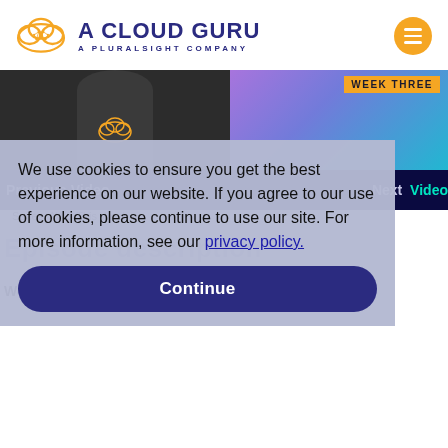[Figure (logo): A Cloud Guru logo with cloud icon and text 'A CLOUD GURU - A PLURALSIGHT COMPANY']
[Figure (photo): Hero image showing a person wearing a dark t-shirt with cloud logo on the left, and a colorful purple/teal gradient on the right with 'WEEK THREE' badge]
Previous Video   Next Video
We use cookies to ensure you get the best experience on our website. If you agree to our use of cookies, please continue to use our site. For more information, see our privacy policy.
Continue
Series: AWS This Week >
Episode description
Welcome to the third special episode of AWS This Week